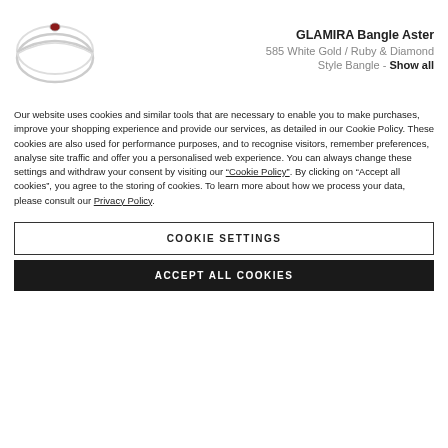GLAMIRA Bangle Aster
585 White Gold / Ruby & Diamond
Style Bangle - Show all
Our website uses cookies and similar tools that are necessary to enable you to make purchases, improve your shopping experience and provide our services, as detailed in our Cookie Policy. These cookies are also used for performance purposes, and to recognise visitors, remember preferences, analyse site traffic and offer you a personalised web experience. You can always change these settings and withdraw your consent by visiting our "Cookie Policy". By clicking on "Accept all cookies", you agree to the storing of cookies. To learn more about how we process your data, please consult our Privacy Policy.
COOKIE SETTINGS
ACCEPT ALL COOKIES